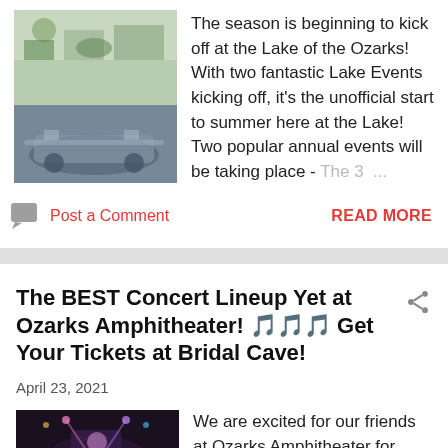[Figure (photo): Two stacked photos: top shows children at an outdoor event, bottom shows a classic gray car.]
The season is beginning to kick off at the Lake of the Ozarks! With two fantastic Lake Events kicking off, it's the unofficial start to summer here at the Lake! Two popular annual events will be taking place - The 3 ...
Post a Comment
READ MORE
The BEST Concert Lineup Yet at Ozarks Amphitheater! 🎵🎵🎵 Get Your Tickets at Bridal Cave!
April 23, 2021
[Figure (photo): Concert photo showing a lit stage with crowd in the foreground at an amphitheater.]
We are excited for our friends at Ozarks Amphitheater for lining up some of the BEST acts yet for a Rockin Summer 2021 at the Lake of the Ozarks! They've made some